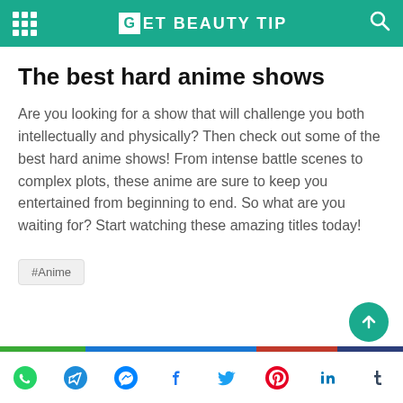GET BEAUTY TIP
The best hard anime shows
Are you looking for a show that will challenge you both intellectually and physically? Then check out some of the best hard anime shows! From intense battle scenes to complex plots, these anime are sure to keep you entertained from beginning to end. So what are you waiting for? Start watching these amazing titles today!
#Anime
[Figure (other): Back to top button (teal circle with upward arrow)]
Social share bar with WhatsApp, Telegram, Messenger, Facebook, Twitter, Pinterest, LinkedIn, Tumblr icons